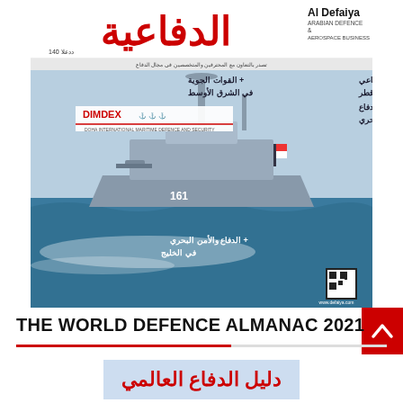[Figure (photo): Cover of Al Defaiya magazine (Arabian Defence & Aerospace Business), issue 140, featuring a naval warship (corvette) at sea. Arabic text overlays describe content: air forces in the Middle East, Qatar's defence posture, DIMDEX maritime defence event, and Gulf maritime defence and security.]
THE WORLD DEFENCE ALMANAC 2021
[Figure (other): Arabic text box with red text reading: دليل الدفاع العالمي (The World Defence Almanac) on a light blue background, partially visible at bottom.]